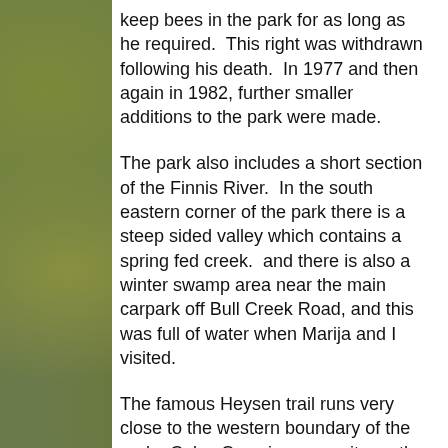keep bees in the park for as long as he required. This right was withdrawn following his death. In 1977 and then again in 1982, further smaller additions to the park were made.
The park also includes a short section of the Finnis River. In the south eastern corner of the park there is a steep sided valley which contains a spring fed creek. and there is also a winter swamp area near the main carpark off Bull Creek Road, and this was full of water when Marija and I visited.
The famous Heysen trail runs very close to the western boundary of the park. Coles Crossing campsite on the western side of the park, offers trekers along the Heysen trail, a place to rest